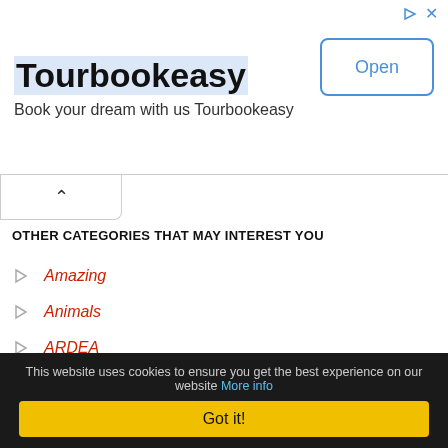[Figure (screenshot): Tourbookeasy advertisement banner with title, subtitle, and Open button]
OTHER CATEGORIES THAT MAY INTEREST YOU
Amazing
Animals
ARDEA
Art and Tech
Entertainment
NATIONAL GEOGRAPHIC creative
News
Quirky
Real People
Video
This website uses cookies to ensure you get the best experience on our website More info
Got it!